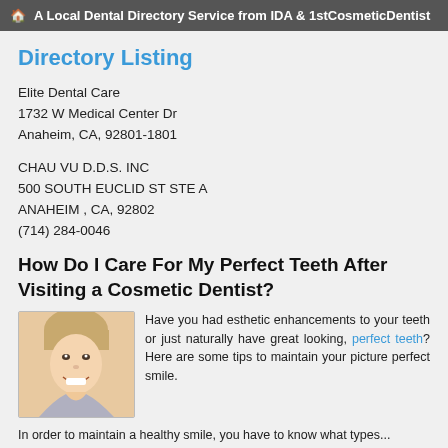A Local Dental Directory Service from IDA & 1stCosmeticDentist
Directory Listing
Elite Dental Care
1732 W Medical Center Dr
Anaheim, CA, 92801-1801
CHAU VU D.D.S. INC
500 SOUTH EUCLID ST STE A
ANAHEIM , CA, 92802
(714) 284-0046
How Do I Care For My Perfect Teeth After Visiting a Cosmetic Dentist?
[Figure (photo): Smiling woman with short blonde hair showing white teeth]
Have you had esthetic enhancements to your teeth or just naturally have great looking, perfect teeth? Here are some tips to maintain your picture perfect smile.
In order to maintain a healthy smile, you have to know what types...
read more